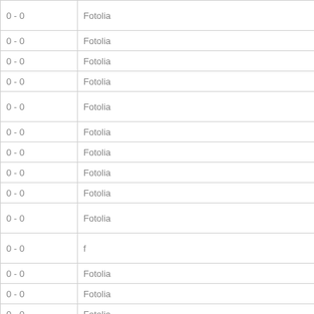| 0 - 0 | Fotolia |
| 0 - 0 | Fotolia |
| 0 - 0 | Fotolia |
| 0 - 0 | Fotolia |
| 0 - 0 | Fotolia |
| 0 - 0 | Fotolia |
| 0 - 0 | Fotolia |
| 0 - 0 | Fotolia |
| 0 - 0 | Fotolia |
| 0 - 0 | Fotolia |
| 0 - 0 | f |
| 0 - 0 | Fotolia |
| 0 - 0 | Fotolia |
| 0 - 0 | Fotolia |
| 0 - 0 | Fotolia |
| 0 - 0 | Fotolia |
| 0 - 0 | Fotolia |
| 0 - 0 | Fotolia |
| 0 - 0 | Fotolia |
| 0 - 0 | Fotolia |
| 0 - 0 | Fotolia |
| 0 - 0 | Fotolia |
| 0 - 0 | Fotolia |
| 0 - 0 | Fotolia |